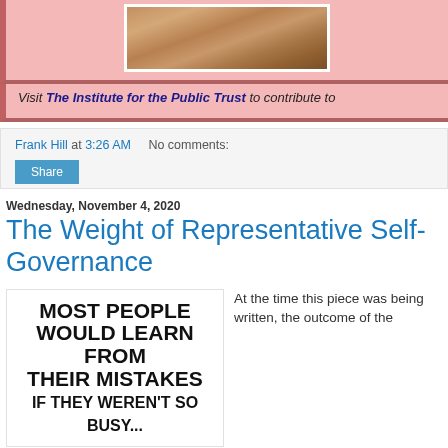[Figure (photo): Partial view of a wooden gavel on pink background]
Visit The Institute for the Public Trust to contribute to
Frank Hill at 3:26 AM   No comments:
Share
Wednesday, November 4, 2020
The Weight of Representative Self-Governance
[Figure (illustration): Bold text meme reading: MOST PEOPLE WOULD LEARN FROM THEIR MISTAKES IF THEY WEREN'T SO BUSY...]
At the time this piece was being written, the outcome of the